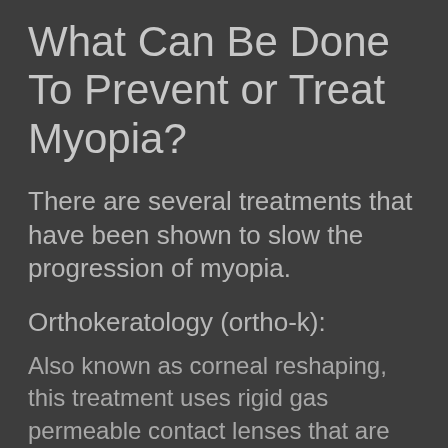What Can Be Done To Prevent or Treat Myopia?
There are several treatments that have been shown to slow the progression of myopia.
Orthokeratology (ortho-k):
Also known as corneal reshaping, this treatment uses rigid gas permeable contact lenses that are worn while the patient sleeps to reshape the cornea, which is the clear, front part of the eye. During the day, the patient is usually able to see clearly, glasses-free. In addition to allowing glasses-free